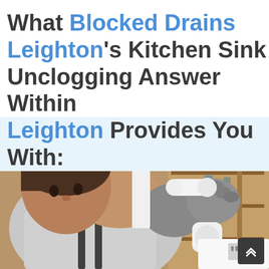What Blocked Drains Leighton's Kitchen Sink Unclogging Answer Within Leighton Provides You With:
[Figure (photo): A plumber or technician wearing gloves and a grey t-shirt working on white PVC pipes under a kitchen sink cabinet. Shelving with items visible in background.]